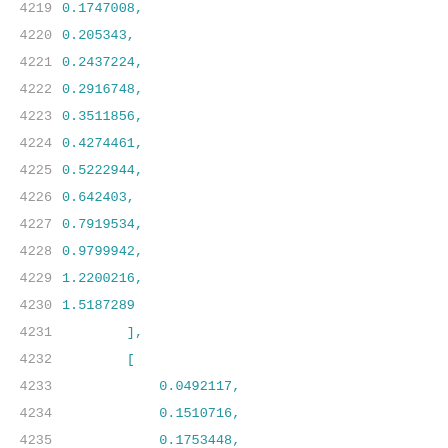4219    0.1747008,
4220    0.205343,
4221    0.2437224,
4222    0.2916748,
4223    0.3511856,
4224    0.4274461,
4225    0.5222944,
4226    0.642403,
4227    0.7919534,
4228    0.9799942,
4229    1.2200216,
4230    1.5187289
4231        ],
4232        [
4233            0.0492117,
4234            0.1510716,
4235            0.1753448,
4236            0.2058563,
4237            0.2442153,
4238            0.2913251,
4239            0.351415,
4240            0.4274612,